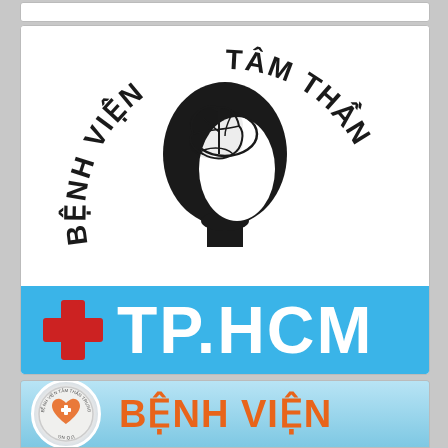[Figure (logo): Benh Vien Tam Than TP.HCM hospital logo — partial top card at top, middle card with arched 'BENH VIEN TAM THAN' text around a brain/head silhouette and a blue bar with red cross and 'TP.HCM', bottom card with circular emblem and 'BENH VIEN' orange text on sky-blue background]
[Figure (logo): Bottom card showing circular Tam Than Trung hospital seal and orange bold 'BENH VIEN' text on light blue sky background]